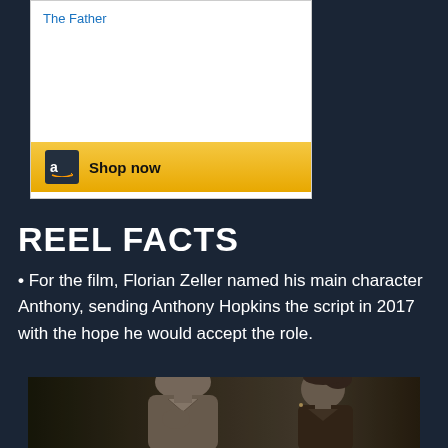[Figure (other): Amazon advertisement for 'The Father' with Shop now button]
REEL FACTS
For the film, Florian Zeller named his main character Anthony, sending Anthony Hopkins the script in 2017 with the hope he would accept the role.
[Figure (photo): Black and white photo of two actors (an older bald man and a woman with dark hair up) facing each other in an intense scene from The Father]